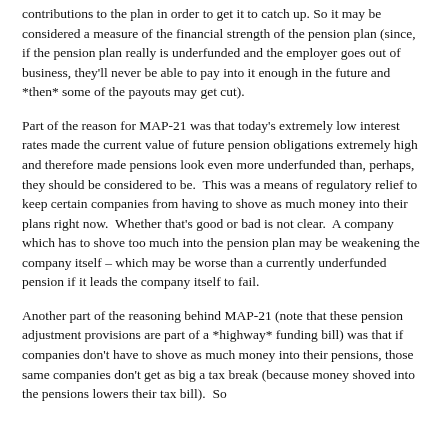contributions to the plan in order to get it to catch up.  So it may be considered a measure of the financial strength of the pension plan (since, if the pension plan really is underfunded and the employer goes out of business, they'll never be able to pay into it enough in the future and *then* some of the payouts may get cut).
Part of the reason for MAP-21 was that today's extremely low interest rates made the current value of future pension obligations extremely high and therefore made pensions look even more underfunded than, perhaps, they should be considered to be.  This was a means of regulatory relief to keep certain companies from having to shove as much money into their plans right now.  Whether that's good or bad is not clear.  A company which has to shove too much into the pension plan may be weakening the company itself – which may be worse than a currently underfunded pension if it leads the company itself to fail.
Another part of the reasoning behind MAP-21 (note that these pension adjustment provisions are part of a *highway* funding bill) was that if companies don't have to shove as much money into their pensions, those same companies don't get as big a tax break (because money shoved into the pensions lowers their tax bill).  So